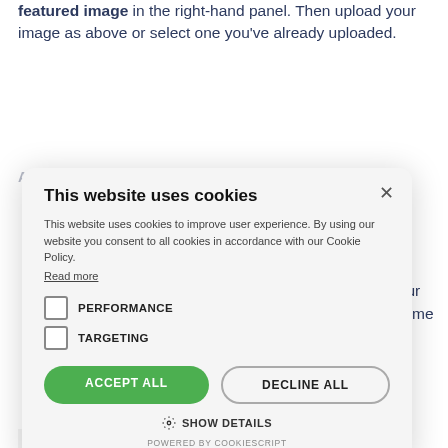featured image in the right-hand panel. Then upload your image as above or select one you've already uploaded.
[Figure (screenshot): Cookie consent modal dialog with title 'This website uses cookies', body text about cookie policy, checkboxes for PERFORMANCE and TARGETING, ACCEPT ALL and DECLINE ALL buttons, SHOW DETAILS link, and POWERED BY COOKIESCRIPT footer.]
When you've uploaded your image – it's time to take some important accessibility measures.
People with
| Caption | Left aligned image, Picture |
| --- | --- |